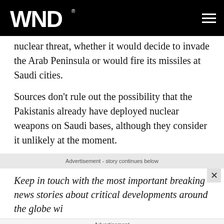WND
nuclear threat, whether it would decide to invade the Arab Peninsula or would fire its missiles at Saudi cities.
Sources don't rule out the possibility that the Pakistanis already have deployed nuclear weapons on Saudi bases, although they consider it unlikely at the moment.
Advertisement - story continues below
Keep in touch with the most important breaking news stories about critical developments around the globe wi
Advertisement
Body-positive Influencers Who Celebrate Self-love In All Shapes